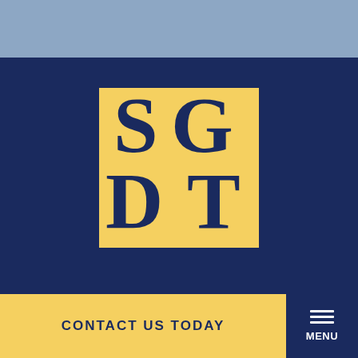[Figure (logo): SGT or SDG monogram logo: navy blue letters S, G, D, T overlapping on a yellow square background, centered on a dark navy blue section]
CONTACT US TODAY
MENU